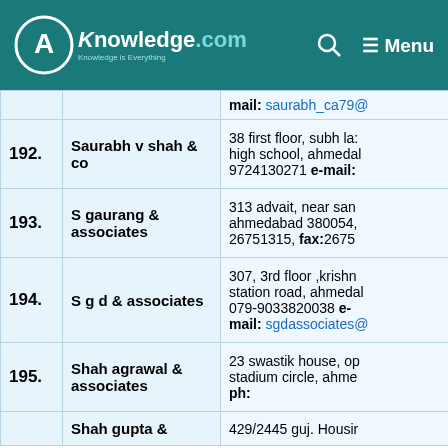CAknowledge.com — Knowledge is Everything | Menu
| # | Name | Address/Contact |
| --- | --- | --- |
|  |  | mail: saurabh_ca79@... |
| 192. | Saurabh v shah & co | 38 first floor, subh lax... high school, ahmedab... 9724130271 e-mail: |
| 193. | S gaurang & associates | 313 advait, near san... ahmedabad 380054, 26751315, fax:26675... |
| 194. | S g d & associates | 307, 3rd floor ,krishn... station road, ahmeda... 079-9033820038 e-mail: sgdassociates@... |
| 195. | Shah agrawal & associates | 23 swastik house, op stadium circle, ahme... ph: |
|  | Shah gupta &... | 429/2445 guj. Housir... |